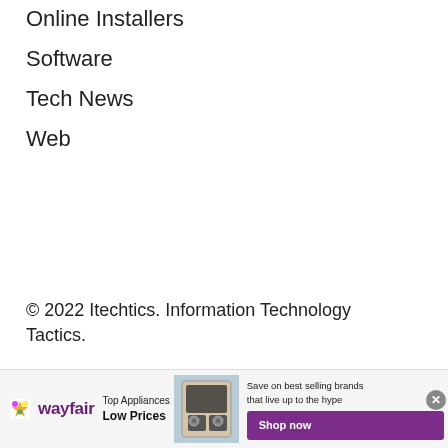Online Installers
Software
Tech News
Web
© 2022 Itechtics. Information Technology Tactics.
Home    Advertise
[Figure (other): Wayfair advertisement banner: 'Top Appliances Low Prices' with image of appliance and text 'Save on best selling brands that live up to the hype' with purple 'Shop now' button. Close button (x) in top right of ad.]